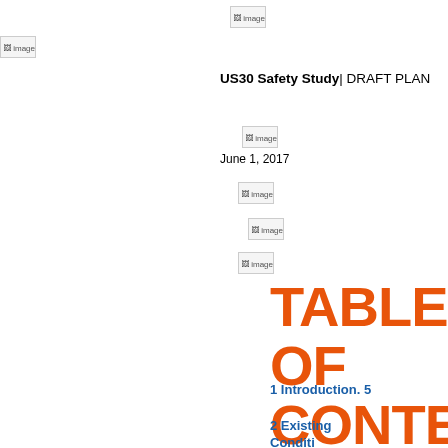[Figure (logo): Image placeholder top center]
[Figure (logo): Image placeholder top left]
US30 Safety Study| DRAFT PLAN
[Figure (logo): Image placeholder below title]
June 1, 2017
[Figure (logo): Image placeholder center]
[Figure (logo): Image placeholder center]
[Figure (logo): Image placeholder center]
TABLE OF CONTENTS
1 Introduction. 5
2 Existing Conditions